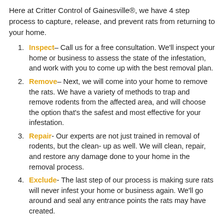Here at Critter Control of Gainesville®, we have 4 step process to capture, release, and prevent rats from returning to your home.
Inspect– Call us for a free consultation. We'll inspect your home or business to assess the state of the infestation, and work with you to come up with the best removal plan.
Remove– Next, we will come into your home to remove the rats. We have a variety of methods to trap and remove rodents from the affected area, and will choose the option that's the safest and most effective for your infestation.
Repair- Our experts are not just trained in removal of rodents, but the clean- up as well. We will clean, repair, and restore any damage done to your home in the removal process.
Exclude- The last step of our process is making sure rats will never infest your home or business again. We'll go around and seal any entrance points the rats may have created.
If your home or business is suffering from a rat infestation, don't risk it! Call the experts at Critter Control of Gainesville at  for a free consultation. We'll be happy to answer any questions you may have about rat removal and your best method of action.
Foxes